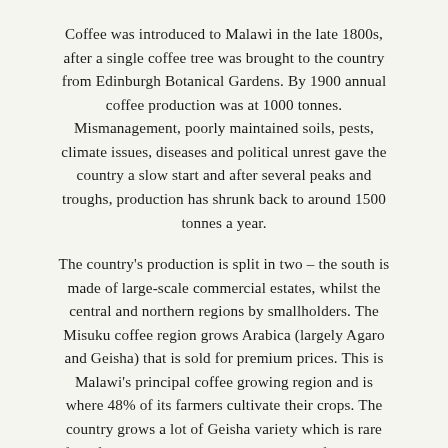Coffee was introduced to Malawi in the late 1800s, after a single coffee tree was brought to the country from Edinburgh Botanical Gardens. By 1900 annual coffee production was at 1000 tonnes. Mismanagement, poorly maintained soils, pests, climate issues, diseases and political unrest gave the country a slow start and after several peaks and troughs, production has shrunk back to around 1500 tonnes a year.
The country's production is split in two – the south is made of large-scale commercial estates, whilst the central and northern regions by smallholders. The Misuku coffee region grows Arabica (largely Agaro and Geisha) that is sold for premium prices. This is Malawi's principal coffee growing region and is where 48% of its farmers cultivate their crops. The country grows a lot of Geisha variety which is rare for African growing countries, plus lots of Catimor,